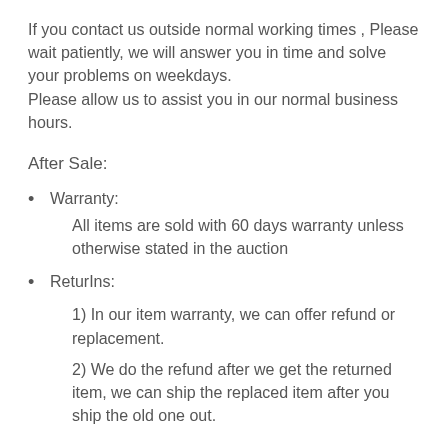If you contact us outside normal working times , Please wait patiently, we will answer you in time and solve your problems on weekdays.
Please allow us to assist you in our normal business hours.
After Sale:
Warranty:
All items are sold with 60 days warranty unless otherwise stated in the auction
ReturIns:
1) In our item warranty, we can offer refund or replacement.
2) We do the refund after we get the returned item, we can ship the replaced item after you ship the old one out.